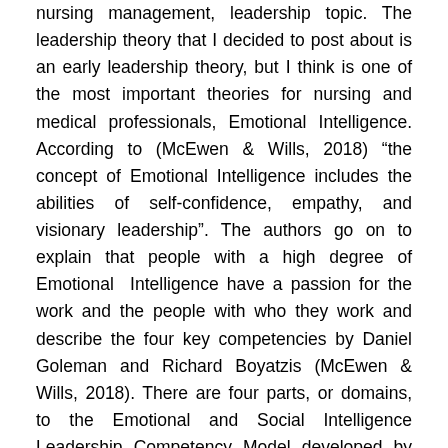nursing management, leadership topic. The leadership theory that I decided to post about is an early leadership theory, but I think is one of the most important theories for nursing and medical professionals, Emotional Intelligence. According to (McEwen & Wills, 2018) “the concept of Emotional Intelligence includes the abilities of self-confidence, empathy, and visionary leadership”. The authors go on to explain that people with a high degree of Emotional Intelligence have a passion for the work and the people with who they work and describe the four key competencies by Daniel Goleman and Richard Boyatzis (McEwen & Wills, 2018). There are four parts, or domains, to the Emotional and Social Intelligence Leadership Competency Model developed by Daniel Goleman and Richard Boyatzis:1.Self-Awareness – The ability to understand our own